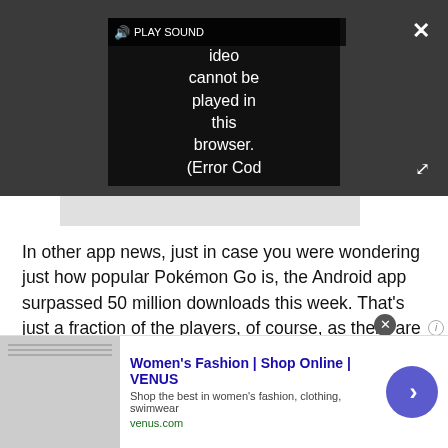[Figure (screenshot): Video player showing error message: 'Video cannot be played in this browser. (Error Cod' with PLAY SOUND button and close/expand controls]
In other app news, just in case you were wondering just how popular Pokémon Go is, the Android app surpassed 50 million downloads this week. That's just a fraction of the players, of course, as there are tens of million more over on iOS as well.
How to set up Google Play Family Library
Samsung Galaxy S8 edge: What does a curvy Note
[Figure (screenshot): Advertisement banner: Women's Fashion | Shop Online | VENUS. Shop the best in women's fashion, clothing, swimwear. venus.com]